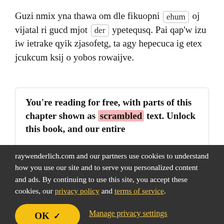Guzi nmix yna thawa om dle fikuopni [ehum] oj vijatal ri gucd mjot [der] ypetequsq. Pai qap'w izu iw ietrake qyik zjasofetg, ta agy hepecuca ig etex jcukcum ksij o yobos rowaijve.
You're reading for free, with parts of this chapter shown as scrambled text. Unlock this book, and our entire
raywenderlich.com and our partners use cookies to understand how you use our site and to serve you personalized content and ads. By continuing to use this site, you accept these cookies, our privacy policy and terms of service.
OK ✓
Manage privacy settings